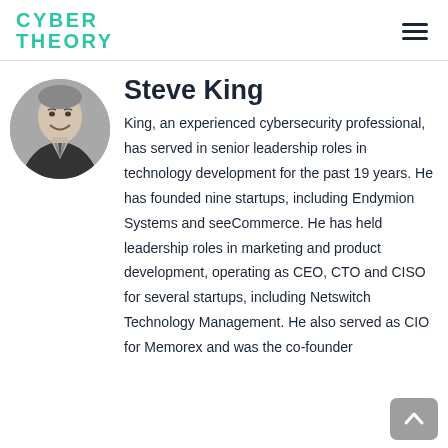CYBER THEORY
Steve King
[Figure (photo): Black and white circular portrait photo of Steve King, a smiling older man in a suit and tie.]
King, an experienced cybersecurity professional, has served in senior leadership roles in technology development for the past 19 years. He has founded nine startups, including Endymion Systems and seeCommerce. He has held leadership roles in marketing and product development, operating as CEO, CTO and CISO for several startups, including Netswitch Technology Management. He also served as CIO for Memorex and was the co-founder